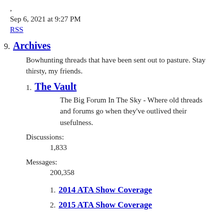,
Sep 6, 2021 at 9:27 PM
RSS
9. Archives
Bowhunting threads that have been sent out to pasture. Stay thirsty, my friends.
1. The Vault
The Big Forum In The Sky - Where old threads and forums go when they've outlived their usefulness.
Discussions:
1,833
Messages:
200,358
1. 2014 ATA Show Coverage
2. 2015 ATA Show Coverage